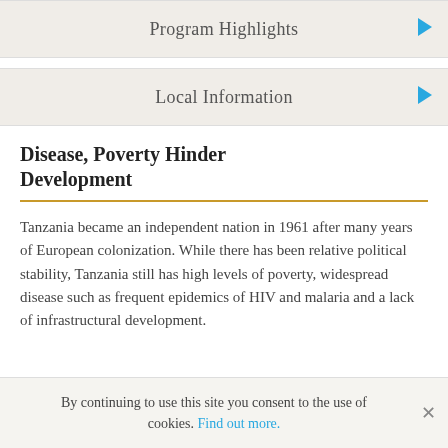Program Highlights
Local Information
Disease, Poverty Hinder Development
Tanzania became an independent nation in 1961 after many years of European colonization. While there has been relative political stability, Tanzania still has high levels of poverty, widespread disease such as frequent epidemics of HIV and malaria and a lack of infrastructural development.
By continuing to use this site you consent to the use of cookies. Find out more.